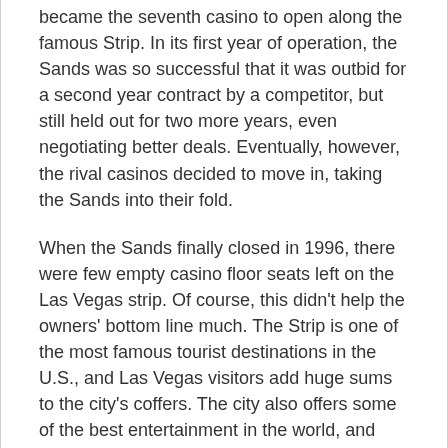became the seventh casino to open along the famous Strip. In its first year of operation, the Sands was so successful that it was outbid for a second year contract by a competitor, but still held out for two more years, even negotiating better deals. Eventually, however, the rival casinos decided to move in, taking the Sands into their fold.
When the Sands finally closed in 1996, there were few empty casino floor seats left on the Las Vegas strip. Of course, this didn't help the owners' bottom line much. The Strip is one of the most famous tourist destinations in the U.S., and Las Vegas visitors add huge sums to the city's coffers. The city also offers some of the best entertainment in the world, and many casinos offer live entertainment. There are always great places to eat at the Sands, as well, including the original buffet restaurant, The Barnacle Historic Building, and the Fountains at the Venetian Resort Hotel.
Although the Sands closed for two years, it was able to attract some legendary entertainers who are still popular today. Two of the longest running acts in Las Vegas, Elvis Presley and Rod Stewart, kept their residencies at the Sands, and even